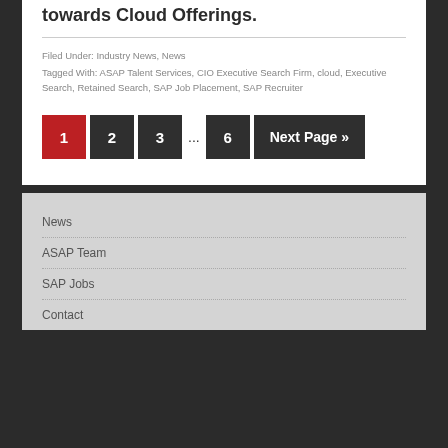towards Cloud Offerings.
Filed Under: Industry News, News
Tagged With: ASAP Talent Services, CIO Executive Search Firm, cloud, Executive Search, Retained Search, SAP Job Placement, SAP Recruiter
1 2 3 ... 6 Next Page »
News
ASAP Team
SAP Jobs
Contact